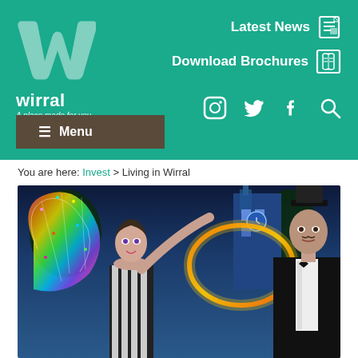[Figure (screenshot): Wirral website header with teal/green background. Shows Wirral logo (stylized W) top left with tagline 'A place made for you'. Top right shows 'Latest News' and 'Download Brochures' links with icons. Below are social media icons (Instagram, Twitter, Facebook) and a search icon. Bottom left has a dark brown menu button with hamburger icon.]
You are here: Invest > Living in Wirral
[Figure (photo): Night-time photo of two performers at an outdoor event. A woman in striped costume with colorful illuminated fairy wings is smiling and holding a glowing hoop. A man in a top hat and bow tie stands beside her. A lit-up clock tower building is visible in the background against a blue night sky.]